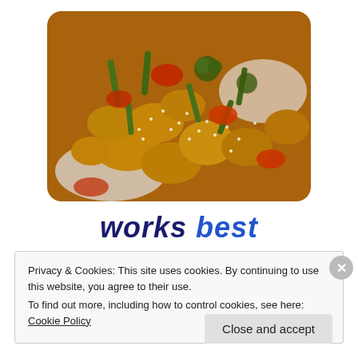[Figure (photo): A plate of sweet and sour chicken stir fry with vegetables (green beans, red peppers, broccoli) served over white rice, garnished with sesame seeds, close-up food photography]
works Best
Privacy & Cookies: This site uses cookies. By continuing to use this website, you agree to their use.
To find out more, including how to control cookies, see here: Cookie Policy
Close and accept